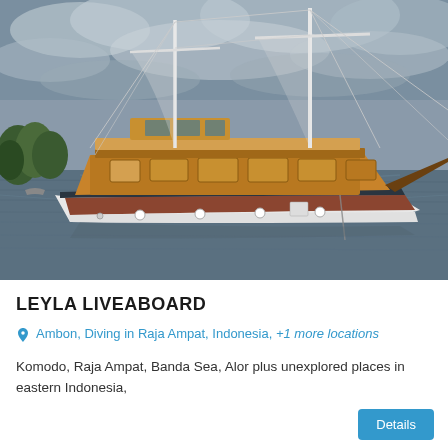[Figure (photo): A traditional Indonesian wooden sailing liveaboard boat (phinisi) floating on calm grey-blue water. The boat has a white hull with a dark blue stripe, wooden upper structure, and two tall white masts with rigging. Overcast sky in the background with some greenery visible on the left shore.]
LEYLA LIVEABOARD
Ambon, Diving in Raja Ampat, Indonesia, +1 more locations
Komodo, Raja Ampat, Banda Sea, Alor plus unexplored places in eastern Indonesia,